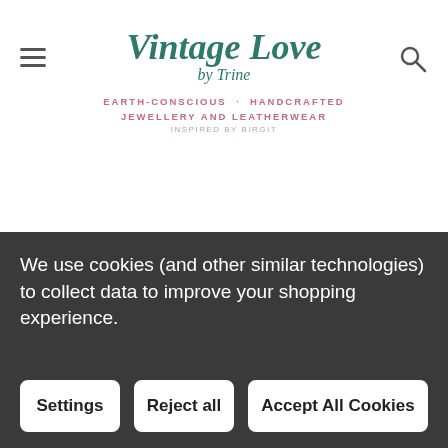[Figure (logo): Vintage Love by Trine logo with tagline: Earth-Conscious · Handcrafted Jewellery and Leatherwear, Inspired by Birgit]
CATEGORIES
INFORMATION
FOLLOW US
We use cookies (and other similar technologies) to collect data to improve your shopping experience.
Settings  Reject all  Accept All Cookies